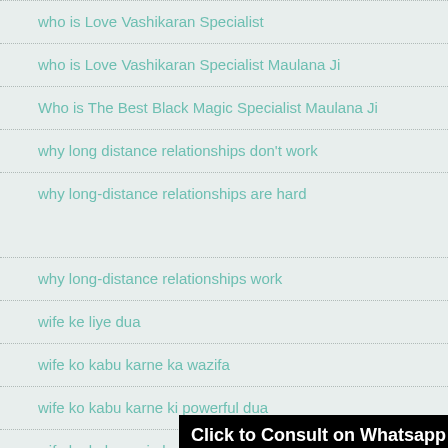who is Love Vashikaran Specialist
who is Love Vashikaran Specialist Maulana Ji
Who is The Best Black Magic Specialist Maulana Ji
why long distance relationships don't work
why long-distance relationships are hard
why long-distance relationships work
wife ke liye dua
wife ko kabu karne ka wazifa
wife ko kabu karne ki powerful dua
wife ko kabu mein karne ka wazifa